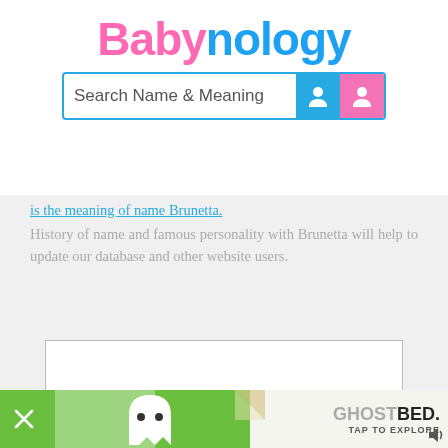[Figure (logo): Babynology website logo with 'Baby' in pink and 'nology' in blue bold text]
[Figure (screenshot): Search bar with text 'Search Name & Meaning' and two icon buttons (male in blue, female in pink)]
is the meaning of name Brunetta. History of name and famous personality with Brunetta will help to update our database and other website users.
[Figure (other): Empty white advertisement box with thin border]
[Figure (other): Bottom banner: green background with X close button, ghost icon (Waze-style), and GhostBed ad with 'TAP TO EXPLORE' text]